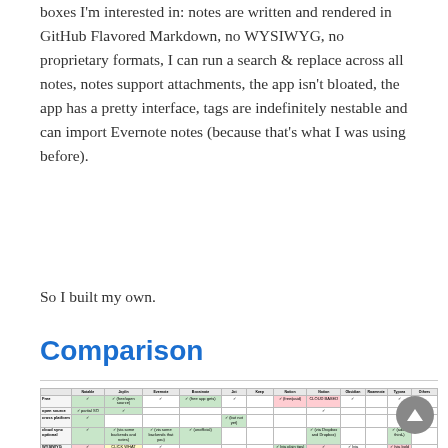boxes I'm interested in: notes are written and rendered in GitHub Flavored Markdown, no WYSIWYG, no proprietary formats, I can run a search & replace across all notes, notes support attachments, the app isn't bloated, the app has a pretty interface, tags are indefinitely nestable and can import Evernote notes (because that's what I was using before).
So I built my own.
Comparison
[Figure (table-as-image): A large comparison table showing various note-taking apps across multiple feature columns, with green, red, and plain cells indicating feature support levels. Columns include: Notable, Joplin, Evernote, Boostnote, Jot, Noteship, Notion, Obsidian, Roam, Dendron, Typora, Others. Rows represent different features.]